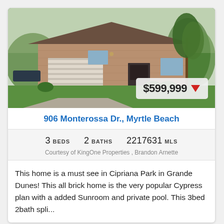[Figure (photo): Exterior photo of a single-story brick home with two-car garage, driveway, and manicured lawn with trees]
$599,999 ▼
906 Monterossa Dr., Myrtle Beach
3 BEDS   2 BATHS   2217631 MLS
Courtesy of KingOne Properties , Brandon Arnette
This home is a must see in Cipriana Park in Grande Dunes! This all brick home is the very popular Cypress plan with a added Sunroom and private pool. This 3bed 2bath spli...